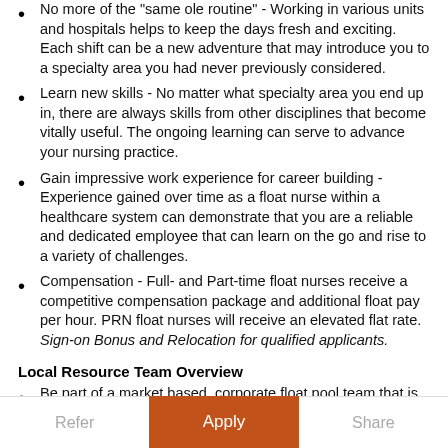No more of the "same ole routine" - Working in various units and hospitals helps to keep the days fresh and exciting. Each shift can be a new adventure that may introduce you to a specialty area you had never previously considered.
Learn new skills - No matter what specialty area you end up in, there are always skills from other disciplines that become vitally useful. The ongoing learning can serve to advance your nursing practice.
Gain impressive work experience for career building - Experience gained over time as a float nurse within a healthcare system can demonstrate that you are a reliable and dedicated employee that can learn on the go and rise to a variety of challenges.
Compensation - Full- and Part-time float nurses receive a competitive compensation package and additional float pay per hour. PRN float nurses will receive an elevated flat rate. Sign-on Bonus and Relocation for qualified applicants.
Local Resource Team Overview
Be part of a market based, corporate float pool team that is assigned to varying units to ensure that patient care needs
Refer   Apply   Share